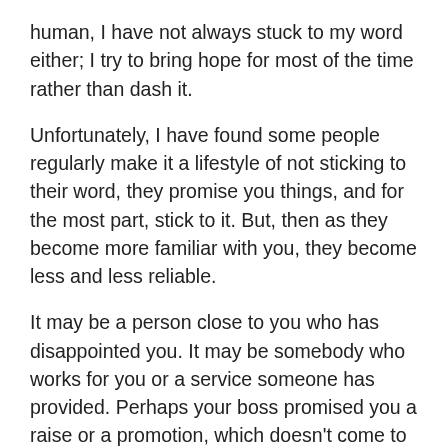human, I have not always stuck to my word either; I try to bring hope for most of the time rather than dash it.
Unfortunately, I have found some people regularly make it a lifestyle of not sticking to their word, they promise you things, and for the most part, stick to it. But, then as they become more familiar with you, they become less and less reliable.
It may be a person close to you who has disappointed you. It may be somebody who works for you or a service someone has provided. Perhaps your boss promised you a raise or a promotion, which doesn't come to fruition. A work colleague may have let you down. Maybe it's someone you're in a relationship with who has made false promises, leaving you feeling used. Whatever it may be, disappointment hold sway when somebody else does not fulfil their promise, dashing